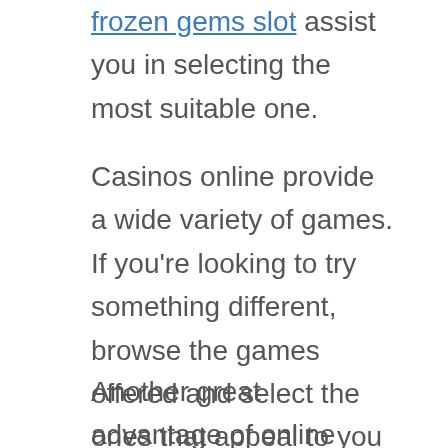frozen gems slot assist you in selecting the most suitable one.
Casinos online provide a wide variety of games. If you're looking to try something different, browse the games offered and select the ones that appeal to you most. The games are sorted by their popularity. The most popular games are listed first. There are also the newest and most well-known games. An online casino may offer a slot machine that you like if you're a fan of slots.
Another great advantage of online casinos is their accessibility. Many people don't wish to download casino software. A casino on the internet is simple to use and provides the greatest flexibility. It's easy to